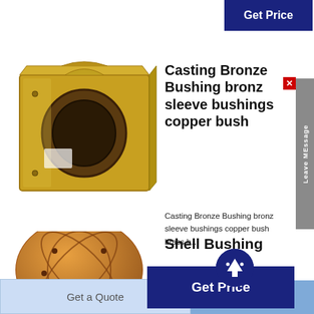[Figure (other): Blue 'Get Price' button at top right]
[Figure (photo): Photo of a large square bronze/brass casting bushing with circular bore]
Casting Bronze Bushing bronz sleeve bushings copper bush
[Figure (other): Grey vertical 'Leave MEssage' tab on right side with red X close button]
Casting Bronze Bushing bronz sleeve bushings copper bush brass b...
[Figure (other): Dark blue circular scroll-up arrow button]
[Figure (other): Blue 'Get Price' button]
Shell Bushing
[Figure (photo): Photo of a spherical orange/gold shell bushing with decorative cutouts]
Bronze slide Cap Shell...
[Figure (other): Light blue 'Get a Quote' button]
[Figure (other): Blue 'Chat Now' button]